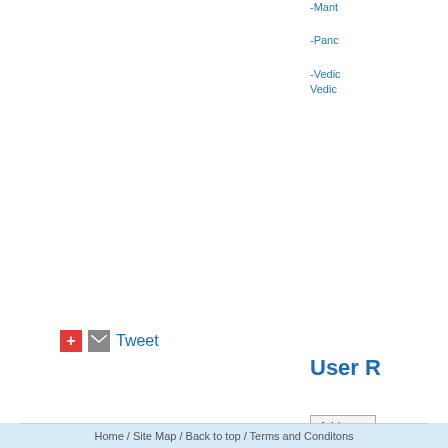-Mant
-Panc
-Vedic
Vedic
User R
Add a ne
[Figure (infographic): Carbon Certificate banner with two ekos badges: Carbon Positive and 40% Carbon Offset, with forest/nature background]
Tweet
Home / Site Map / Back to top / Terms and Conditons